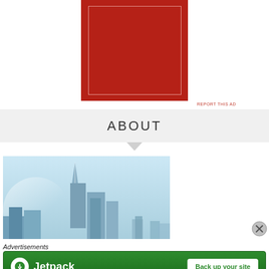[Figure (other): Red advertisement block with inner white border outline on dark red background]
REPORT THIS AD
ABOUT
[Figure (photo): City skyline photo showing tall buildings and spire against light blue sky]
Advertisements
[Figure (other): Jetpack advertisement banner with green background, Jetpack logo and 'Back up your site' button]